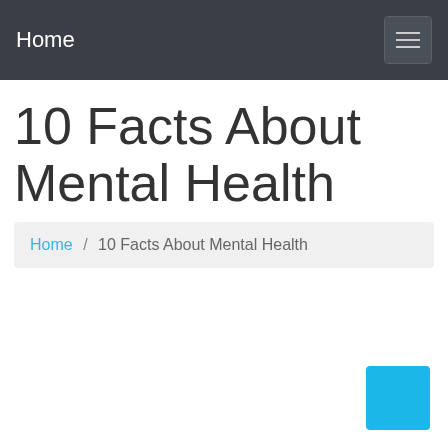Home
10 Facts About Mental Health
Home / 10 Facts About Mental Health